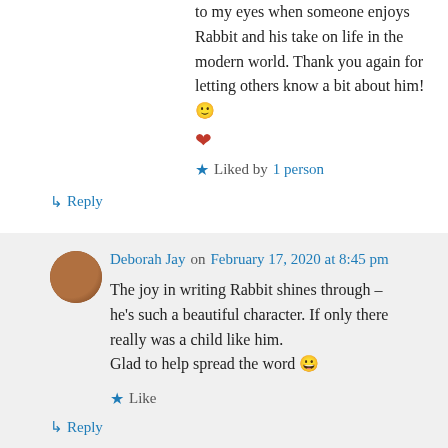to my eyes when someone enjoys Rabbit and his take on life in the modern world. Thank you again for letting others know a bit about him! 🙂 ❤
Liked by 1 person
↳ Reply
Deborah Jay on February 17, 2020 at 8:45 pm
The joy in writing Rabbit shines through – he's such a beautiful character. If only there really was a child like him.
Glad to help spread the word 😀
Like
↳ Reply